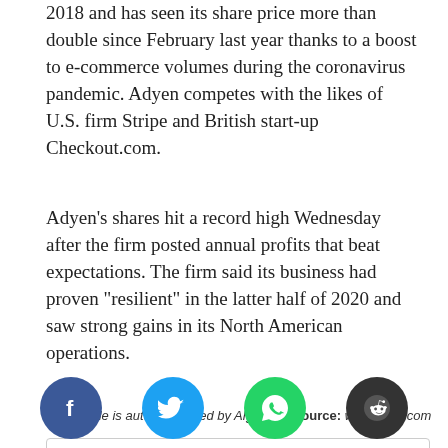2018 and has seen its share price more than double since February last year thanks to a boost to e-commerce volumes during the coronavirus pandemic. Adyen competes with the likes of U.S. firm Stripe and British start-up Checkout.com.
Adyen’s shares hit a record high Wednesday after the firm posted annual profits that beat expectations. The firm said its business had proven “resilient” in the latter half of 2020 and saw strong gains in its North American operations.
This article is auto-generated by Algorithm Source: www.cnbc.com
You Might Also Like
[Figure (other): Social media sharing icons: Facebook (blue circle), Twitter (cyan circle), WhatsApp (green circle), Reddit (dark circle)]